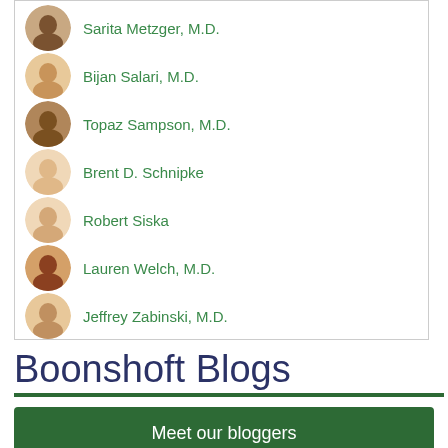Sarita Metzger, M.D.
Bijan Salari, M.D.
Topaz Sampson, M.D.
Brent D. Schnipke
Robert Siska
Lauren Welch, M.D.
Jeffrey Zabinski, M.D.
Boonshoft Blogs
Meet our bloggers